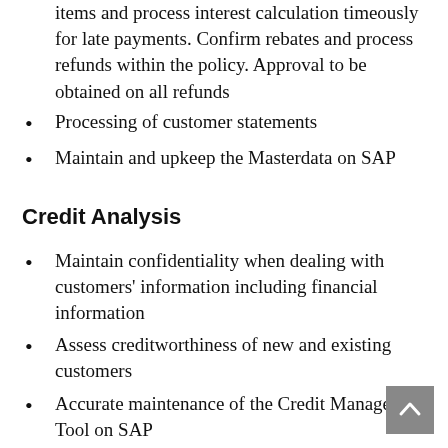items and process interest calculation timeously for late payments. Confirm rebates and process refunds within the policy. Approval to be obtained on all refunds
Processing of customer statements
Maintain and upkeep the Masterdata on SAP
Credit Analysis
Maintain confidentiality when dealing with customers' information including financial information
Assess creditworthiness of new and existing customers
Accurate maintenance of the Credit Management Tool on SAP